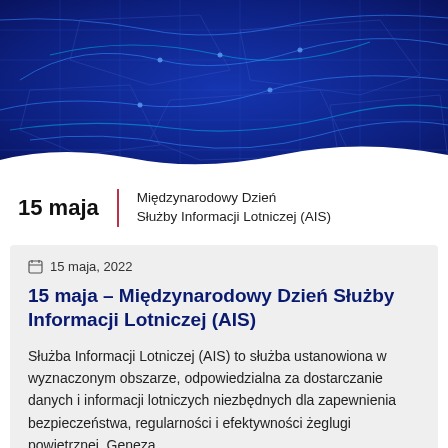[Figure (illustration): Dark blue aeronautical map/airspace chart with glowing blue route lines and borders on dark navy background, used as hero banner image.]
15 maja | Międzynarodowy Dzień Służby Informacji Lotniczej (AIS)
15 maja, 2022
15 maja – Międzynarodowy Dzień Służby Informacji Lotniczej (AIS)
Służba Informacji Lotniczej (AIS) to służba ustanowiona w wyznaczonym obszarze, odpowiedzialna za dostarczanie danych i informacji lotniczych niezbędnych dla zapewnienia bezpieczeństwa, regularności i efektywności żeglugi powietrznej. Geneza